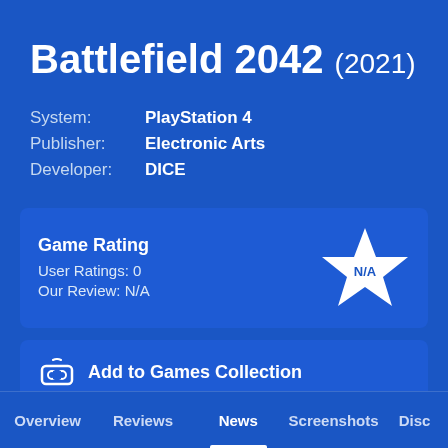Battlefield 2042 (2021)
System: PlayStation 4
Publisher: Electronic Arts
Developer: DICE
Game Rating
User Ratings: 0
Our Review: N/A
Add to Games Collection
Overview  Reviews  News  Screenshots  Disc